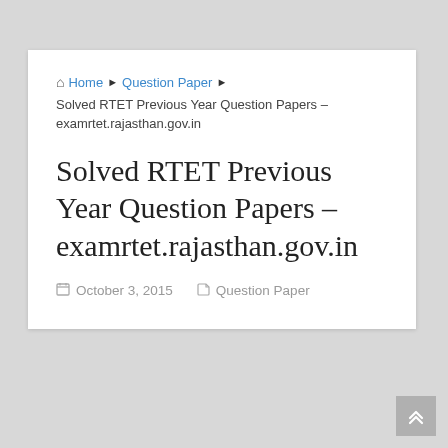🏠 Home ▶ Question Paper ▶ Solved RTET Previous Year Question Papers – examrtet.rajasthan.gov.in
Solved RTET Previous Year Question Papers – examrtet.rajasthan.gov.in
October 3, 2015   Question Paper